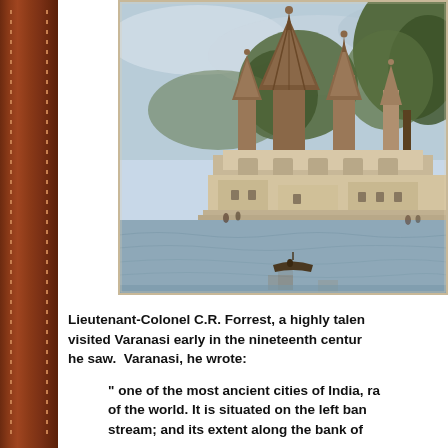[Figure (illustration): A historical painting of Varanasi (Benares) showing Hindu temples with tall shikhara spires on the left bank of the Ganges river. The scene includes trees, classical architecture, a boat on the water, and a pale blue sky. The painting is in a watercolor style typical of early 19th century British Indian art.]
Lieutenant-Colonel C.R. Forrest, a highly talented artist, visited Varanasi early in the nineteenth century and painted he saw.  Varanasi, he wrote:
" one of the most ancient cities of India, ranked among of the world. It is situated on the left ban stream; and its extent along the bank of